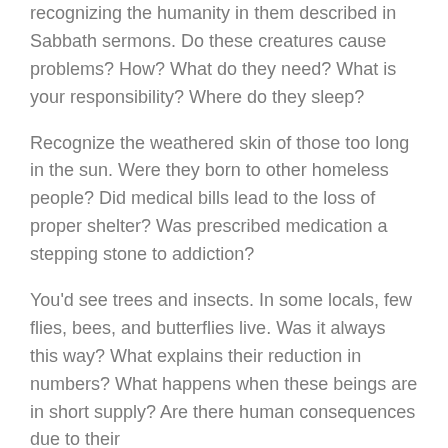recognizing the humanity in them described in Sabbath sermons. Do these creatures cause problems? How? What do they need? What is your responsibility? Where do they sleep?
Recognize the weathered skin of those too long in the sun. Were they born to other homeless people? Did medical bills lead to the loss of proper shelter? Was prescribed medication a stepping stone to addiction?
You'd see trees and insects. In some locals, few flies, bees, and butterflies live. Was it always this way? What explains their reduction in numbers? What happens when these beings are in short supply? Are there human consequences due to their